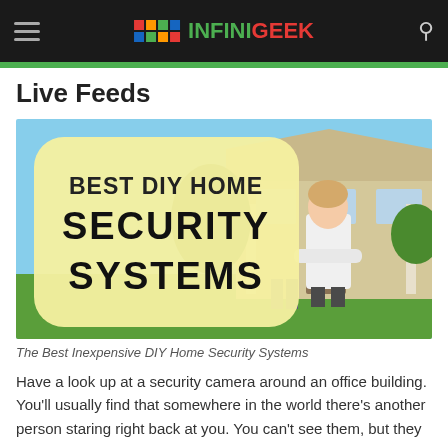INFINIGEEK
Live Feeds
[Figure (photo): Article thumbnail image showing a woman standing with arms crossed in front of a suburban house, with a yellow rounded-rectangle overlay on the left reading 'BEST DIY HOME SECURITY SYSTEMS' in bold dark text.]
The Best Inexpensive DIY Home Security Systems
Have a look up at a security camera around an office building. You'll usually find that somewhere in the world there's another person staring right back at you. You can't see them, but they can